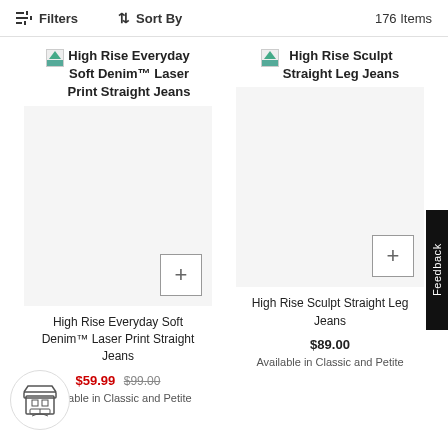Filters  Sort By  176 Items
High Rise Everyday Soft Denim™ Laser Print Straight Jeans
High Rise Sculpt Straight Leg Jeans
[Figure (photo): Product image placeholder for High Rise Everyday Soft Denim Laser Print Straight Jeans]
[Figure (photo): Product image placeholder for High Rise Sculpt Straight Leg Jeans]
High Rise Everyday Soft Denim™ Laser Print Straight Jeans
$59.99 $99.00
Available in Classic and Petite
High Rise Sculpt Straight Leg Jeans
$89.00
Available in Classic and Petite